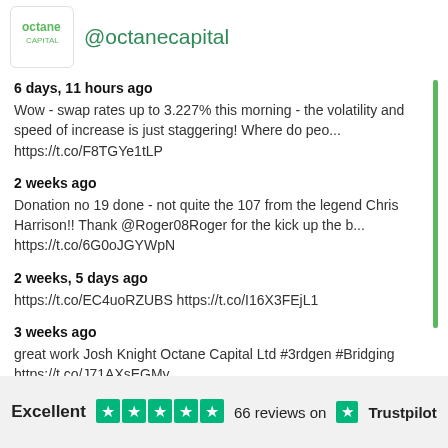[Figure (logo): Octane Capital logo in a white rounded box]
@octanecapital
6 days, 11 hours ago
Wow - swap rates up to 3.227% this morning - the volatility and speed of increase is just staggering! Where do peo... https://t.co/F8TGYe1tLP
2 weeks ago
Donation no 19 done - not quite the 107 from the legend Chris Harrison!! Thank @Roger08Roger for the kick up the b... https://t.co/6G0oJGYWpN
2 weeks, 5 days ago
https://t.co/EC4uoRZUBS https://t.co/I16X3FEjL1
3 weeks ago
great work Josh Knight Octane Capital Ltd #3rdgen #Bridging https://t.co/J71AXsEGMy
Excellent   66 reviews on  Trustpilot